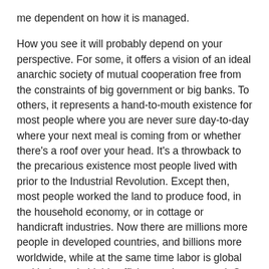me dependent on how it is managed.
How you see it will probably depend on your perspective. For some, it offers a vision of an ideal anarchic society of mutual cooperation free from the constraints of big government or big banks. To others, it represents a hand-to-mouth existence for most people where you are never sure day-to-day where your next meal is coming from or whether there's a roof over your head. It's a throwback to the precarious existence most people lived with prior to the Industrial Revolution. Except then, most people worked the land to produce food, in the household economy, or in cottage or handicraft industries. Now there are millions more people in developed countries, and billions more worldwide, while at the same time labor is global and industry is highly efficient and automated. Or economy is mismatched with technological reality; not a good prospectus for survival.
It will probably provide opportunities but also exacerbate the division between the haves and the have-nots. And it will probably be a death-knell for the "consumer society." If people can not count on a steady paycheck, how can they